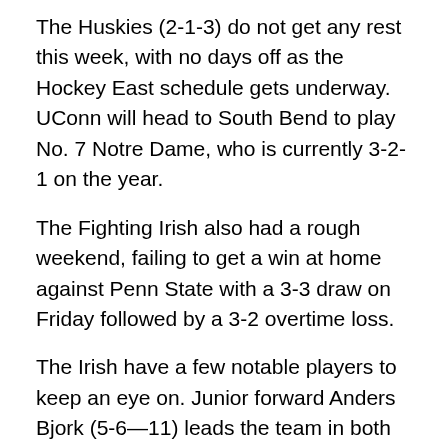The Huskies (2-1-3) do not get any rest this week, with no days off as the Hockey East schedule gets underway. UConn will head to South Bend to play No. 7 Notre Dame, who is currently 3-2-1 on the year.
The Fighting Irish also had a rough weekend, failing to get a win at home against Penn State with a 3-3 draw on Friday followed by a 3-2 overtime loss.
The Irish have a few notable players to keep an eye on. Junior forward Anders Bjork (5-6—11) leads the team in both goals and points. He is tied for the lead in assists with another junior forward, Connor Hurley (1-6—7). Sophomore forward Andrew Oglevie (4-5—9) sits just behind Bjork.
Cal Peterson, a junior, has manned the net for Notre Dame in all but one period this year, when he was